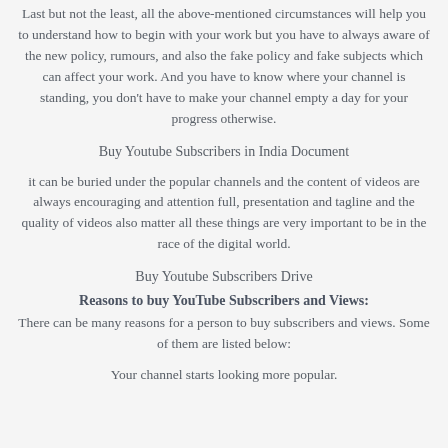Last but not the least, all the above-mentioned circumstances will help you to understand how to begin with your work but you have to always aware of the new policy, rumours, and also the fake policy and fake subjects which can affect your work. And you have to know where your channel is standing, you don't have to make your channel empty a day for your progress otherwise.
Buy Youtube Subscribers in India Document
it can be buried under the popular channels and the content of videos are always encouraging and attention full, presentation and tagline and the quality of videos also matter all these things are very important to be in the race of the digital world.
Buy Youtube Subscribers Drive
Reasons to buy YouTube Subscribers and Views:
There can be many reasons for a person to buy subscribers and views. Some of them are listed below:
Your channel starts looking more popular.